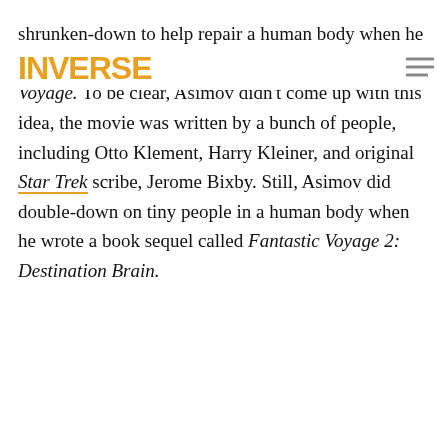INVERSE
shrunken-down to help repair a human body when he wrote the novelization of the 1966 movie Fantastic Voyage. To be clear, Asimov didn't come up with this idea, the movie was written by a bunch of people, including Otto Klement, Harry Kleiner, and original Star Trek scribe, Jerome Bixby. Still, Asimov did double-down on tiny people in a human body when he wrote a book sequel called Fantastic Voyage 2: Destination Brain.
ADVERTISEMENT